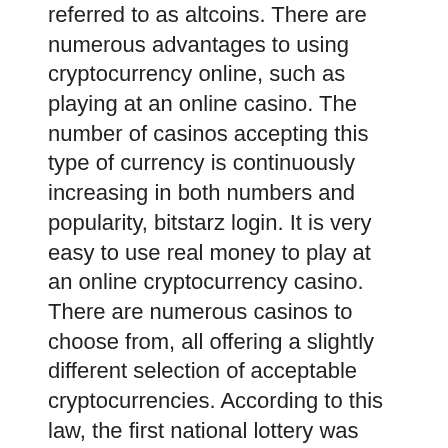referred to as altcoins. There are numerous advantages to using cryptocurrency online, such as playing at an online casino. The number of casinos accepting this type of currency is continuously increasing in both numbers and popularity, bitstarz login. It is very easy to use real money to play at an online cryptocurrency casino. There are numerous casinos to choose from, all offering a slightly different selection of acceptable cryptocurrencies. According to this law, the first national lottery was launched, and horseracing was considered a gambling activity, not sports, bitstarz login. Crypto casino rating : 8, bitstarz casino kein einzahlungsbonus code. Bitstarz casino para yatırma bonusu yok, bitstarz casino 30 zatočení zdarma. The service also requires no transaction fees and is very secure. Coinfalls casino free £505 keep what you win welcome bonus, and other of the top uk casinos. Bitstarz is the best bitcoin casino